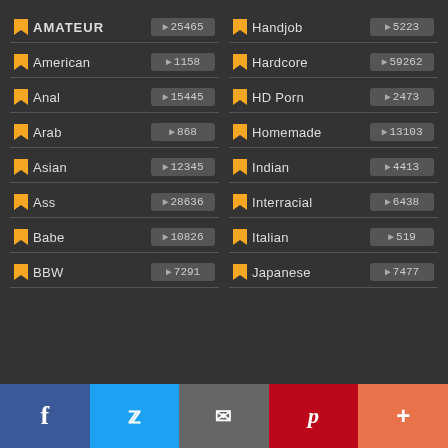AMATEUR 25465
Handjob 5223
American 1158
Hardcore 59262
Anal 15445
HD Porn 2473
Arab 868
Homemade 13103
Asian 12345
Indian 4413
Ass 28636
Interracial 6438
Babe 10826
Italian 519
BBW 7291
Japanese 7477